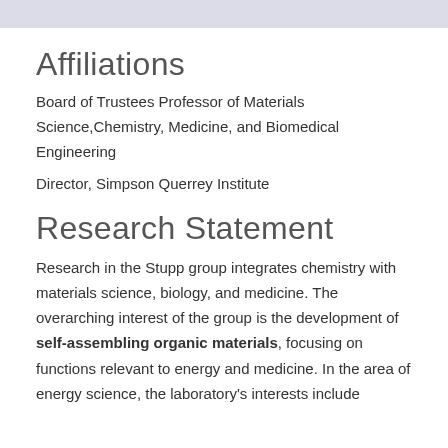Affiliations
Board of Trustees Professor of Materials Science,Chemistry, Medicine, and Biomedical Engineering
Director, Simpson Querrey Institute
Research Statement
Research in the Stupp group integrates chemistry with materials science, biology, and medicine. The overarching interest of the group is the development of self-assembling organic materials, focusing on functions relevant to energy and medicine. In the area of energy science, the laboratory's interests include